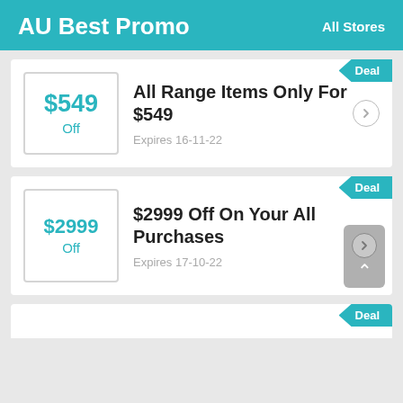AU Best Promo   All Stores
$549 Off — All Range Items Only For $549 — Expires 16-11-22
$2999 Off — $2999 Off On Your All Purchases — Expires 17-10-22
Deal (partial card)